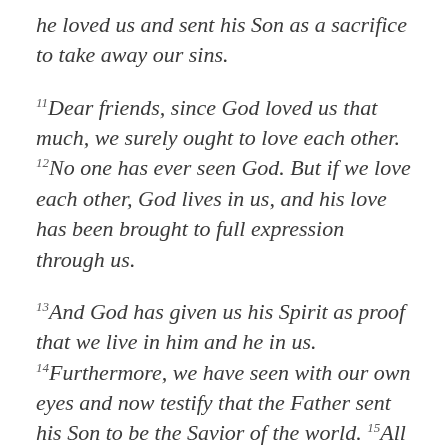he loved us and sent his Son as a sacrifice to take away our sins.
11Dear friends, since God loved us that much, we surely ought to love each other. 12No one has ever seen God. But if we love each other, God lives in us, and his love has been brought to full expression through us.
13And God has given us his Spirit as proof that we live in him and he in us. 14Furthermore, we have seen with our own eyes and now testify that the Father sent his Son to be the Savior of the world. 15All who proclaim that Jesus is the Son of God have God living in them, and